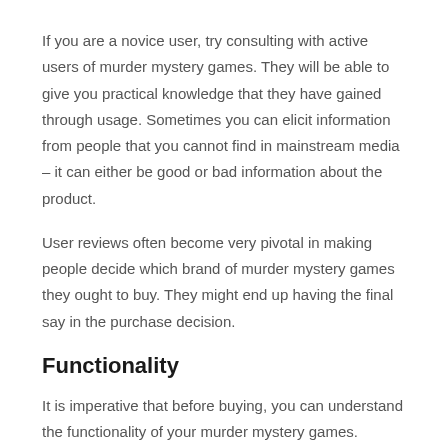If you are a novice user, try consulting with active users of murder mystery games. They will be able to give you practical knowledge that they have gained through usage. Sometimes you can elicit information from people that you cannot find in mainstream media – it can either be good or bad information about the product.
User reviews often become very pivotal in making people decide which brand of murder mystery games they ought to buy. They might end up having the final say in the purchase decision.
Functionality
It is imperative that before buying, you can understand the functionality of your murder mystery games. Granted that a lot of knowledge about the product is learned through usage and experience. As there are different types, try to choose the one that parallels your requirements the most.